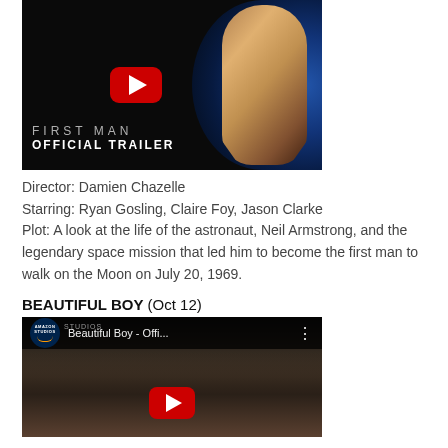[Figure (screenshot): YouTube thumbnail for First Man Official Trailer showing astronaut helmet silhouette and planet arc with YouTube play button overlay. Text reads 'FIRST MAN OFFICIAL TRAILER'.]
Director: Damien Chazelle
Starring: Ryan Gosling, Claire Foy, Jason Clarke
Plot: A look at the life of the astronaut, Neil Armstrong, and the legendary space mission that led him to become the first man to walk on the Moon on July 20, 1969.
BEAUTIFUL BOY (Oct 12)
[Figure (screenshot): YouTube-embedded video thumbnail for Beautiful Boy - Official Trailer (Amazon Studios). Shows two people embracing with YouTube play button overlay.]